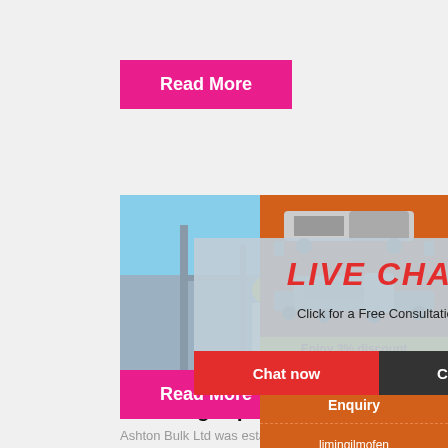Read More
[Figure (photo): Photo of construction workers wearing yellow hard hats at an industrial site, overlaid with a live chat dialog box. Live chat shows 'LIVE CHAT - Click for a Free Consultation' with 'Chat now' and 'Chat later' buttons.]
[Figure (photo): Orange sidebar panel showing images of industrial crushing/mining machines, with 'Enjoy 3% discount', 'Click to Chat', 'Enquiry', and 'limingjlmofen@sina.com' text.]
Handling Equipment Ashton Bulk
Ashton Bulk Ltd was established and star
Read More